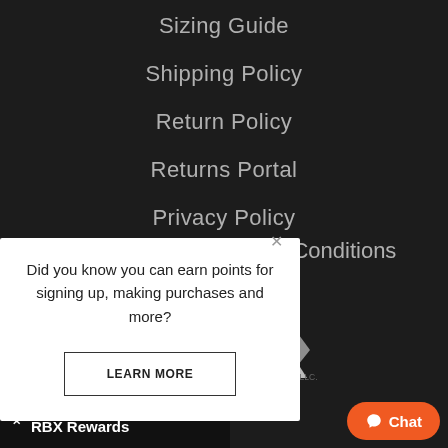Sizing Guide
Shipping Policy
Return Policy
Returns Portal
Privacy Policy
& Conditions
[Figure (logo): RBX brand logo with claw mark design in white on dark background]
Did you know you can earn points for signing up, making purchases and more?
LEARN MORE
ns LLC. RBX and Claw Design is a reg. stered trademark of TRB Acquisitions LLC. site operated by RBX Direct LLC
RBX Rewards
Chat